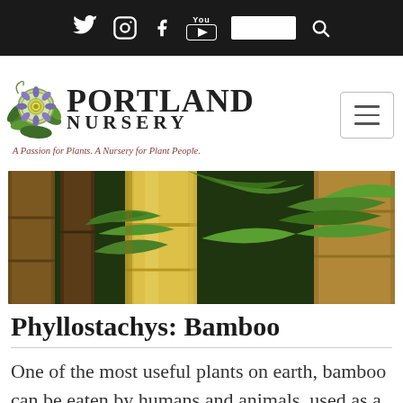Portland Nursery website header with social media icons (Twitter, Instagram, Facebook, YouTube), search box, and hamburger menu
[Figure (logo): Portland Nursery logo with illustrated passion flower/plant graphic, text 'PORTLAND NURSERY' and tagline 'A Passion for Plants. A Nursery for Plant People.']
[Figure (photo): Close-up photograph of bamboo stalks (Phyllostachys) with green leaves, golden-yellow canes in various thicknesses]
Phyllostachys: Bamboo
One of the most useful plants on earth, bamboo can be eaten by humans and animals, used as a